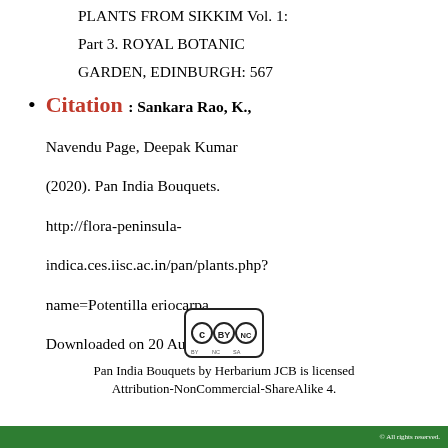PLANTS FROM SIKKIM Vol. 1: Part 3. ROYAL BOTANIC GARDEN, EDINBURGH: 567
Citation : Sankara Rao, K., Navendu Page, Deepak Kumar (2020). Pan India Bouquets. http://flora-peninsula-indica.ces.iisc.ac.in/pan/plants.php?name=Potentilla eriocarpa. Downloaded on 20 August 2022.
[Figure (logo): Creative Commons BY-NC-SA license badge]
Pan India Bouquets by Herbarium JCB is licensed Attribution-NonCommercial-ShareAlike 4.
© All rights reserved.